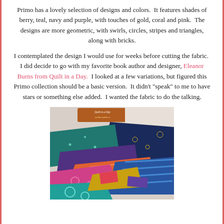Primo has a lovely selection of designs and colors.  It features shades of berry, teal, navy and purple, with touches of gold, coral and pink.  The designs are more geometric, with swirls, circles, stripes and triangles, along with bricks.
I contemplated the design I would use for weeks before cutting the fabric.  I did decide to go with my favorite book author and designer, Eleanor Burns from Quilt in a Day.  I looked at a few variations, but figured this Primo collection should be a basic version.  It didn't "speak" to me to have stars or something else added.  I wanted the fabric to do the talking.
[Figure (photo): A pile of colorful quilting fabric swatches with a 'Quilt in a Day' book visible at the top. Fabrics show various patterns including geometric, floral, and striped designs in colors like teal, navy, purple, coral, gold, and pink.]